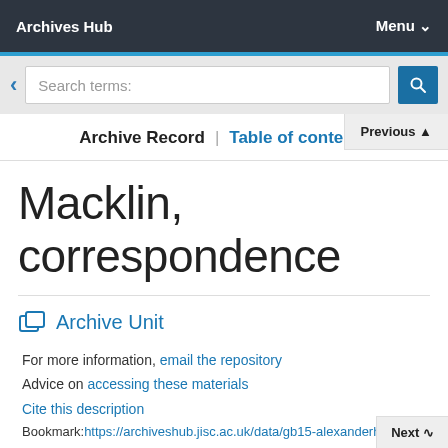Archives Hub   Menu
Archive Record | Table of contents
Macklin, correspondence
Archive Unit
For more information, email the repository
Advice on accessing these materials
Cite this description
Bookmark:https://archiveshub.jisc.ac.uk/data/gb15-alexanderhepburnemacklin/alexanderhepburnemacklin/correspondence